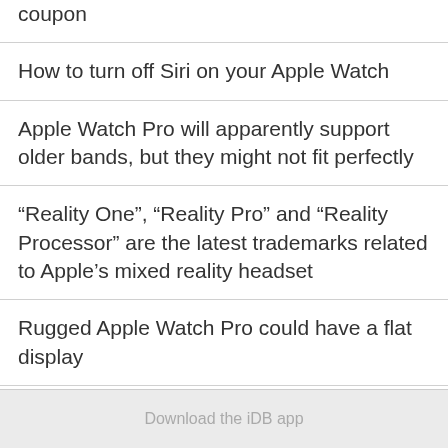coupon
How to turn off Siri on your Apple Watch
Apple Watch Pro will apparently support older bands, but they might not fit perfectly
“Reality One”, “Reality Pro” and “Reality Processor” are the latest trademarks related to Apple’s mixed reality headset
Rugged Apple Watch Pro could have a flat display
Download the iDB app